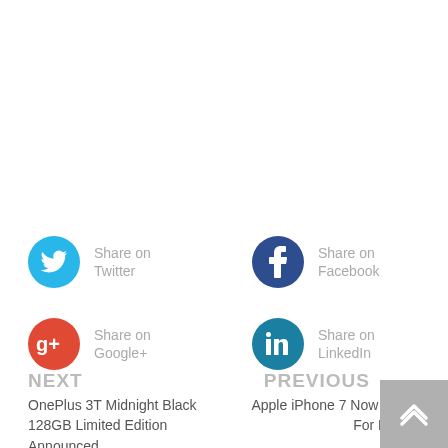[Figure (infographic): Social sharing icons row 1: Twitter (Share on Twitter) and Facebook (Share on Facebook)]
[Figure (infographic): Social sharing icons row 2: Google+ (Share on Google+) and LinkedIn (Share on LinkedIn)]
NEXT
OnePlus 3T Midnight Black 128GB Limited Edition Announced
PREVIOUS
Apple iPhone 7 Now Available For Rs.47999